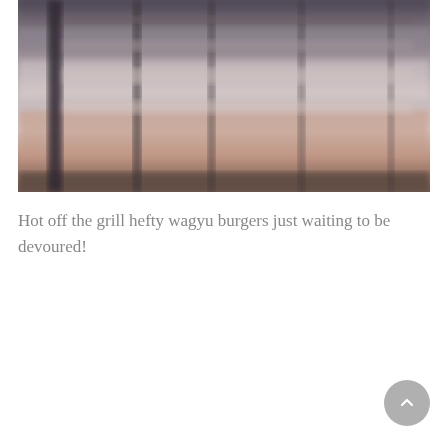[Figure (photo): Blurred close-up photo of a grill with horizontal grill grates visible. The image shows a warm brownish-pink tabletop surface at the bottom and dark vertical grill bars, with the grill surface appearing blurred and out of focus. Colors range from dark grey at top to warm tan/brown at bottom.]
Hot off the grill hefty wagyu burgers just waiting to be devoured!